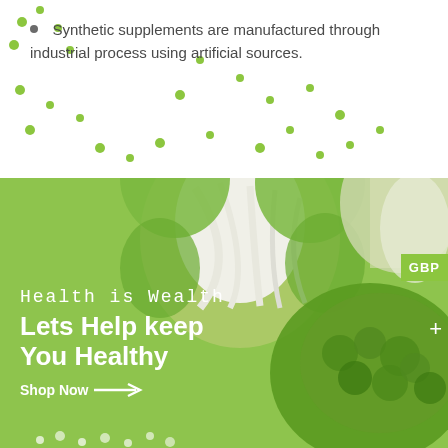Synthetic supplements are manufactured through industrial process using artificial sources.
[Figure (photo): Green banner with broccoli and cauliflower on a light green background. Text overlay reads 'Health is Wealth / Lets Help keep You Healthy / Shop Now →'. GBP badge visible at right edge.]